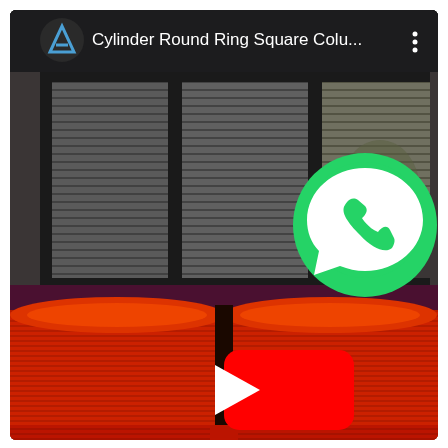[Figure (screenshot): A YouTube video thumbnail/player screenshot showing a video titled 'Cylinder Round Ring Square Colu...' with a YouTube play button overlay in the center. The video thumbnail shows large bright red cylindrical/round shapes stacked against a building with dark windows and horizontal blinds. A WhatsApp logo (green circle with white phone icon) is overlaid in the upper-right area of the video. The video header bar is dark/black with a triangular logo icon (blue) on the left, the video title in white, and a three-dot menu icon on the right.]